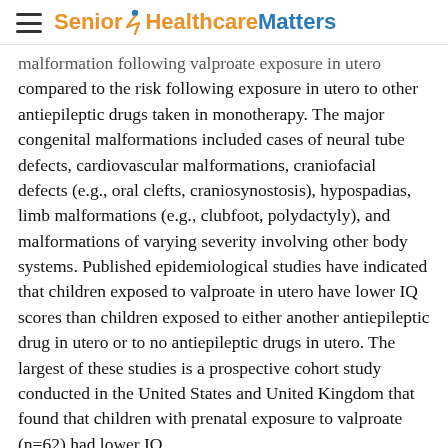Senior Healthcare Matters
malformation following valproate exposure in utero compared to the risk following exposure in utero to other antiepileptic drugs taken in monotherapy. The major congenital malformations included cases of neural tube defects, cardiovascular malformations, craniofacial defects (e.g., oral clefts, craniosynostosis), hypospadias, limb malformations (e.g., clubfoot, polydactyly), and malformations of varying severity involving other body systems. Published epidemiological studies have indicated that children exposed to valproate in utero have lower IQ scores than children exposed to either another antiepileptic drug in utero or to no antiepileptic drugs in utero. The largest of these studies is a prospective cohort study conducted in the United States and United Kingdom that found that children with prenatal exposure to valproate (n=62) had lower IQ